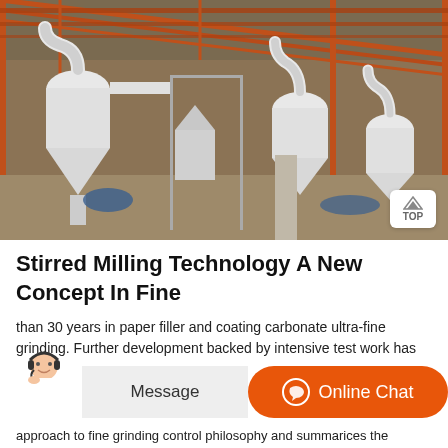[Figure (photo): Industrial milling equipment inside a large warehouse with orange metal roof structure. Multiple white cyclone separators and grinding mills visible on a dirt floor.]
Stirred Milling Technology A New Concept In Fine
than 30 years in paper filler and coating carbonate ultra-fine grinding. Further development backed by intensive test work has
approach to fine grinding control philosophy and summarices the